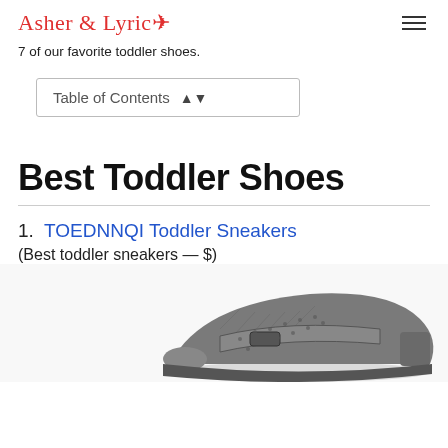Asher & Lyric
7 of our favorite toddler shoes.
Table of Contents
Best Toddler Shoes
1. TOEDNNQI Toddler Sneakers
(Best toddler sneakers — $)
[Figure (photo): Grey toddler sneaker with velcro strap, photographed from above at an angle on a white background.]